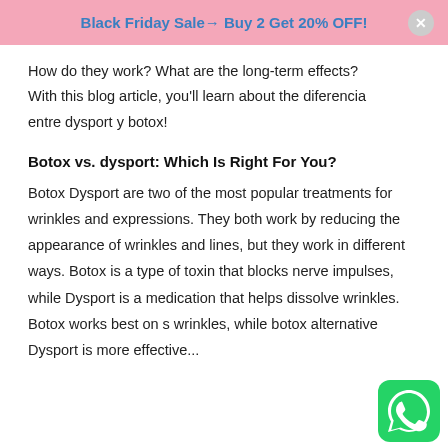Black Friday Sale→ Buy 2 Get 20% OFF!
How do they work? What are the long-term effects? With this blog article, you'll learn about the diferencia entre dysport y botox!
Botox vs. dysport: Which Is Right For You?
Botox Dysport are two of the most popular treatments for wrinkles and expressions. They both work by reducing the appearance of wrinkles and lines, but they work in different ways. Botox is a type of toxin that blocks nerve impulses, while Dysport is a medication that helps dissolve wrinkles. Botox works best on s wrinkles, while botox alternative Dysport is more effective...